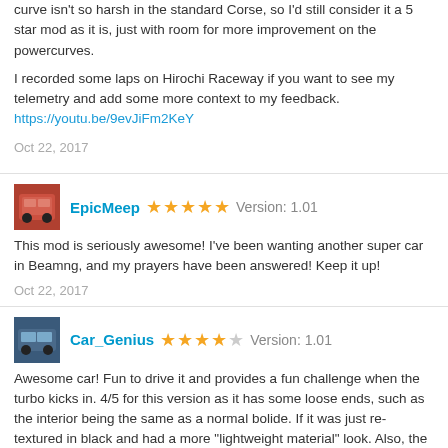curve isn't so harsh in the standard Corse, so I'd still consider it a 5 star mod as it is, just with room for more improvement on the powercurves.
I recorded some laps on Hirochi Raceway if you want to see my telemetry and add some more context to my feedback. https://youtu.be/9evJiFm2KeY
Oct 22, 2017
[Figure (photo): Avatar image of user EpicMeep - small red car]
EpicMeep ★★★★★ Version: 1.01
This mod is seriously awesome! I've been wanting another super car in Beamng, and my prayers have been answered! Keep it up!
Oct 22, 2017
[Figure (photo): Avatar image of user Car_Genius - blue car]
Car_Genius ★★★★☆ Version: 1.01
Awesome car! Fun to drive it and provides a fun challenge when the turbo kicks in. 4/5 for this version as it has some loose ends, such as the interior being the same as a normal bolide. If it was just re-textured in black and had a more "lightweight material" look. Also, the rear nosecone could use some "polishing up"

HIGHLY RECOMMENDED!
Oct 22, 2017
[Figure (photo): Avatar image of user Puncpic2 - partial view]
Puncpic2 ★★★★ Version: 1.01